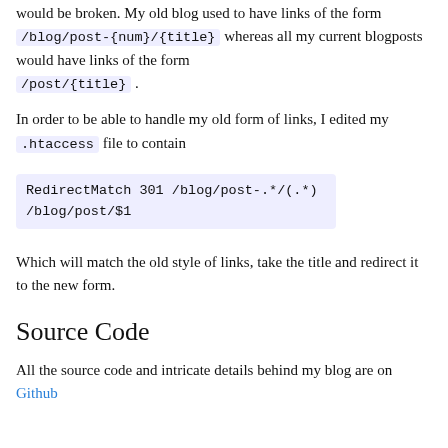would be broken. My old blog used to have links of the form /blog/post-{num}/{title} whereas all my current blogposts would have links of the form /post/{title} .
In order to be able to handle my old form of links, I edited my .htaccess file to contain
RedirectMatch 301 /blog/post-.*/(.*)  /blog/post/$1
Which will match the old style of links, take the title and redirect it to the new form.
Source Code
All the source code and intricate details behind my blog are on Github